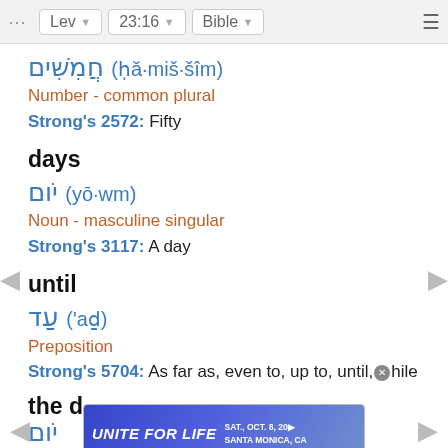Lev | 23:16 | Bible
חֲמִשִּׁים (hă·miš·šîm)
Number - common plural
Strong's 2572: Fifty
days
יֹום (yō·wm)
Noun - masculine singular
Strong's 3117: A day
until
עַד ('aḏ)
Preposition
Strong's 5704: As far as, even to, up to, until, while
the d
[Figure (infographic): Advertisement banner: UNITE FOR LIFE, SAT., OCT. 8, 20... SANTA MONICA, CA]